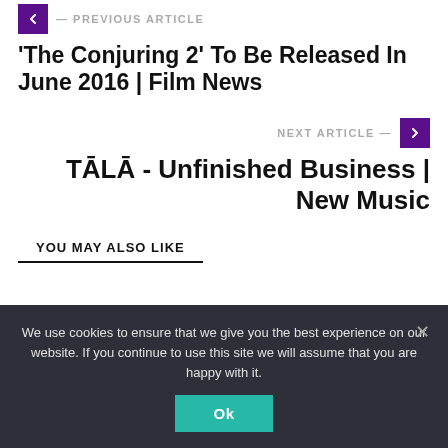PREVIOUS ARTICLE
'The Conjuring 2' To Be Released In June 2016 | Film News
NEXT ARTICLE
TĀLĀ - Unfinished Business | New Music
YOU MAY ALSO LIKE
We use cookies to ensure that we give you the best experience on our website. If you continue to use this site we will assume that you are happy with it.